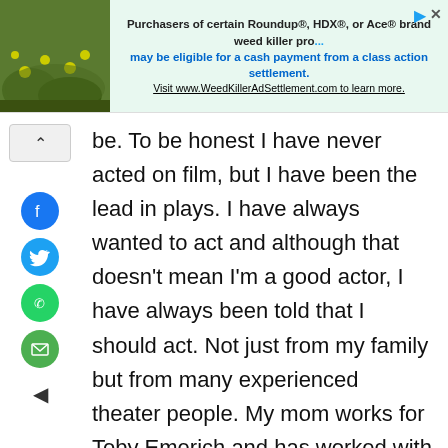[Figure (screenshot): Advertisement banner for Roundup/HDX/Ace weed killer class action settlement with plant photo on left and green background text area on right]
be. To be honest I have never acted on film, but I have been the lead in plays. I have always wanted to act and although that doesn't mean I'm a good actor, I have always been told that I should act. Not just from my family but from many experienced theater people. My mom works for Toby Emerich and has worked with New Line Cinema for over a decade so I am familiar with film. I go to a private Quaker school and I have learned to be an out going